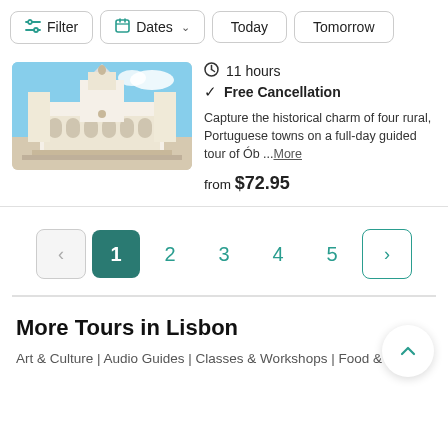Filter | Dates | Today | Tomorrow
[Figure (photo): Photo of a white neoclassical Portuguese palace/church with blue sky background]
11 hours
Free Cancellation
Capture the historical charm of four rural, Portuguese towns on a full-day guided tour of Ób ...More
from $72.95
< 1 2 3 4 5 >
More Tours in Lisbon
Art & Culture | Audio Guides | Classes & Workshops | Food & Drink |